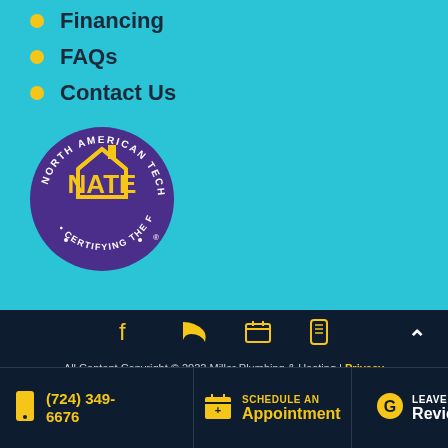Financing
FAQs
Contact Us
[Figure (logo): NATE - North American Technician Excellence - Certifying the Finest in HVAC circular logo, purple background with yellow house/NATE text]
All Content Copyright © 2022 Miller Plumbing & Heating | Privacy Policy | Terms of Service | Disclaimer | Sitemap
(724) 349-6676 | SCHEDULE AN Appointment | LEAVE A Review